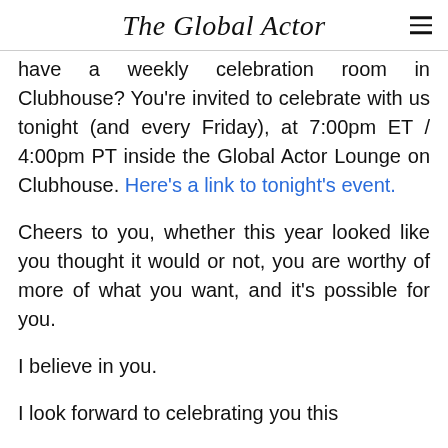The Global Actor
have a weekly celebration room in Clubhouse? You're invited to celebrate with us tonight (and every Friday), at 7:00pm ET / 4:00pm PT inside the Global Actor Lounge on Clubhouse. Here's a link to tonight's event.
Cheers to you, whether this year looked like you thought it would or not, you are worthy of more of what you want, and it's possible for you.
I believe in you.
I look forward to celebrating you this